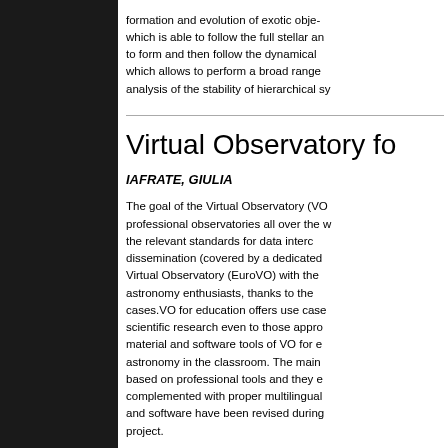formation and evolution of exotic objects which is able to follow the full stellar an to form and then follow the dynamical which allows to perform a broad range analysis of the stability of hierarchical sy
Virtual Observatory fo
IAFRATE, GIULIA
The goal of the Virtual Observatory (VO professional observatories all over the w the relevant standards for data interc dissemination (covered by a dedicated Virtual Observatory (EuroVO) with the astronomy enthusiasts, thanks to the cases.VO for education offers use case scientific research even to those appro material and software tools of VO for e astronomy in the classroom. The main based on professional tools and they e complemented with proper multilingual and software have been revised during project.
Fullerenes and PAHs in